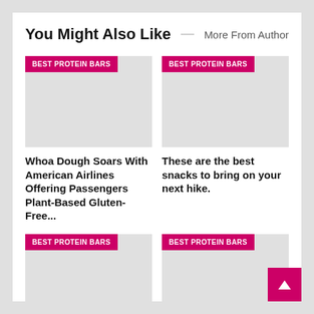You Might Also Like
More From Author
[Figure (photo): Placeholder image with BEST PROTEIN BARS badge - card 1 top row]
[Figure (photo): Placeholder image with BEST PROTEIN BARS badge - card 2 top row]
Whoa Dough Soars With American Airlines Offering Passengers Plant-Based Gluten-Free...
These are the best snacks to bring on your next hike.
[Figure (photo): Placeholder image with BEST PROTEIN BARS badge - card 1 bottom row]
[Figure (photo): Placeholder image with BEST PROTEIN BARS badge - card 2 bottom row]